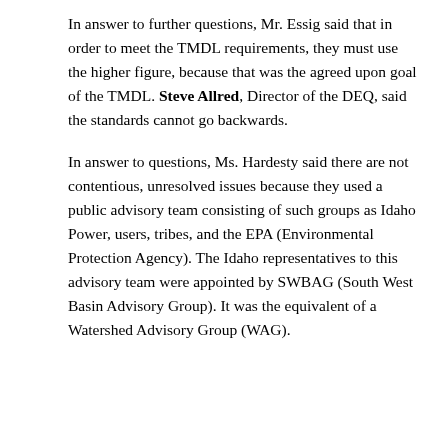In answer to further questions, Mr. Essig said that in order to meet the TMDL requirements, they must use the higher figure, because that was the agreed upon goal of the TMDL. Steve Allred, Director of the DEQ, said the standards cannot go backwards.
In answer to questions, Ms. Hardesty said there are not contentious, unresolved issues because they used a public advisory team consisting of such groups as Idaho Power, users, tribes, and the EPA (Environmental Protection Agency). The Idaho representatives to this advisory team were appointed by SWBAG (South West Basin Advisory Group). It was the equivalent of a Watershed Advisory Group (WAG).